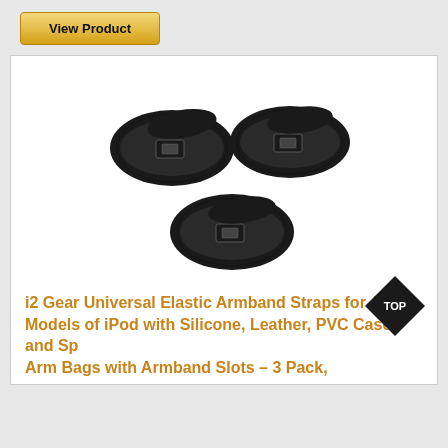[Figure (other): View Product button with golden/yellow gradient background]
[Figure (photo): Three black elastic armband straps arranged in a triangular pattern, each with a rectangular plastic/metal buckle]
i2 Gear Universal Elastic Armband Straps for All Models of iPod with Silicone, Leather, PVC Case and Sp Arm Bags with Armband Slots – 3 Pack,